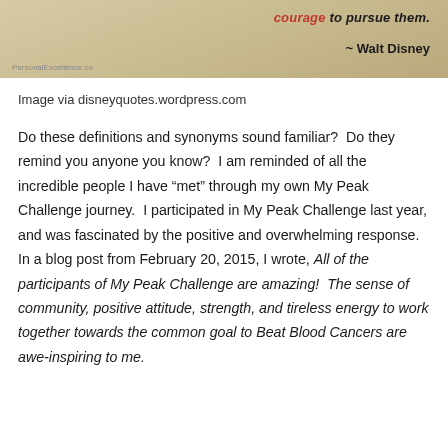[Figure (photo): Cropped image showing bottom portion of a Walt Disney inspirational quote on a beige/tan background. Text reads 'courage to pursue them.' and '~ Walt Disney' with a watermark 'PersonalExcellence.co']
Image via disneyquotes.wordpress.com
Do these definitions and synonyms sound familiar?  Do they remind you anyone you know?  I am reminded of all the incredible people I have “met” through my own My Peak Challenge journey.  I participated in My Peak Challenge last year, and was fascinated by the positive and overwhelming response.  In a blog post from February 20, 2015, I wrote, All of the participants of My Peak Challenge are amazing!  The sense of community, positive attitude, strength, and tireless energy to work together towards the common goal to Beat Blood Cancers are awe-inspiring to me.